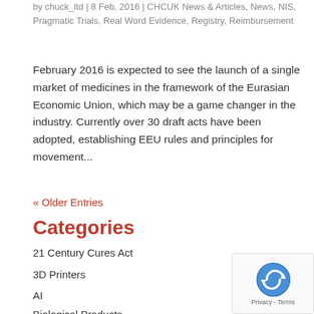by chuck_ltd | 8 Feb, 2016 | CHCUK News & Articles, News, NIS, Pragmatic Trials, Real Word Evidence, Registry, Reimbursement
February 2016 is expected to see the launch of a single market of medicines in the framework of the Eurasian Economic Union, which may be a game changer in the industry. Currently over 30 draft acts have been adopted, establishing EEU rules and principles for movement...
« Older Entries
Categories
21 Century Cures Act
3D Printers
AI
Biological Products